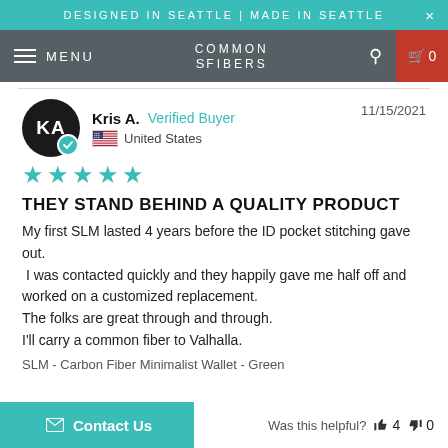DESIGNED IN SEATTLE | MADE IN SEATTLE
MENU  COMMON FIBERS  0
Kris A.   Verified Buyer   11/15/2021
United States
★★★★★
THEY STAND BEHIND A QUALITY PRODUCT
My first SLM lasted 4 years before the ID pocket stitching gave out.
 I was contacted quickly and they happily gave me half off and worked on a customized replacement.
The folks are great through and through.
I'll carry a common fiber to Valhalla.
SLM - Carbon Fiber Minimalist Wallet - Green
Contact Us   Was this helpful?  👍 4  👎 0